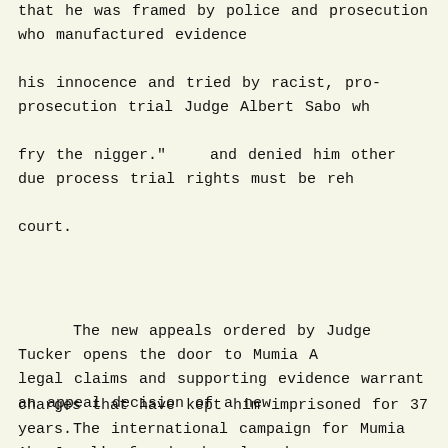that he was framed by police and prosecution who manufactured evidence
his innocence and tried by racist, pro-prosecution trial Judge Albert Sabo wh
fry the nigger."    and denied him other due process trial rights must be reh
court.
The new appeals ordered by Judge Tucker opens the door to Mumia A
legal claims and supporting evidence warrant an appeal decision of a new
charges that have kept him imprisoned for 37 years.
The international campaign for Mumia Abu-Jamal's freedom has launche